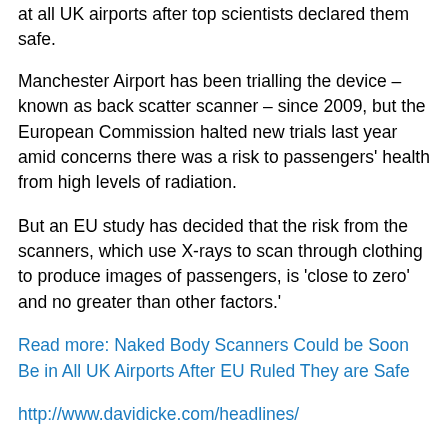at all UK airports after top scientists declared them safe.
Manchester Airport has been trialling the device – known as back scatter scanner – since 2009, but the European Commission halted new trials last year amid concerns there was a risk to passengers' health from high levels of radiation.
But an EU study has decided that the risk from the scanners, which use X-rays to scan through clothing to produce images of passengers, is 'close to zero' and no greater than other factors.'
Read more: Naked Body Scanners Could be Soon Be in All UK Airports After EU Ruled They are Safe
http://www.davidicke.com/headlines/